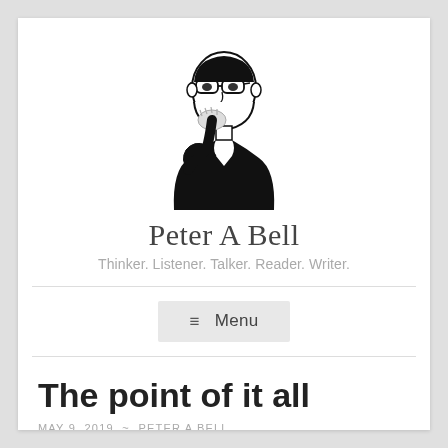[Figure (illustration): Black and white ink illustration of a man with glasses, hand on chin in a thinking pose, wearing a dark shirt.]
Peter A Bell
Thinker. Listener. Talker. Reader. Writer.
≡ Menu
The point of it all
MAY 9, 2019  ~  PETER A BELL